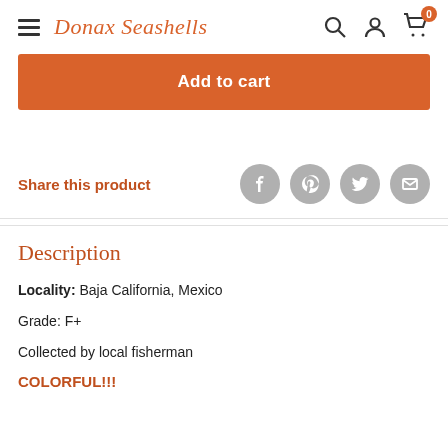Donax Seashells
[Figure (screenshot): Add to cart button in orange/terracotta color]
Share this product
[Figure (illustration): Social share icons: Facebook, Pinterest, Twitter, Email]
Description
Locality:  Baja California, Mexico
Grade: F+
Collected by local fisherman
COLORFUL!!!